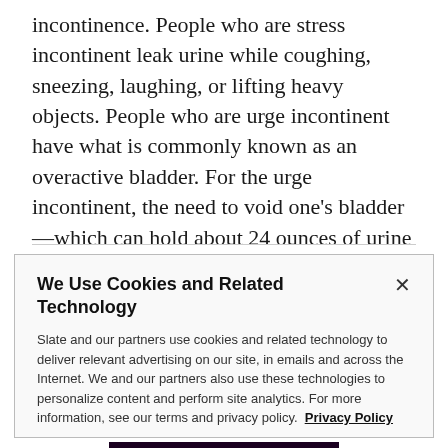incontinence. People who are stress incontinent leak urine while coughing, sneezing, laughing, or lifting heavy objects. People who are urge incontinent have what is commonly known as an overactive bladder. For the urge incontinent, the need to void one's bladder—which can hold about 24 ounces of urine at its top capacity—can come suddenly and uncontrollably.
We Use Cookies and Related Technology
Slate and our partners use cookies and related technology to deliver relevant advertising on our site, in emails and across the Internet. We and our partners also use these technologies to personalize content and perform site analytics. For more information, see our terms and privacy policy.  Privacy Policy